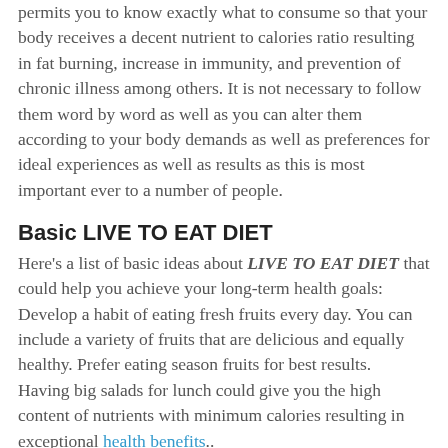permits you to know exactly what to consume so that your body receives a decent nutrient to calories ratio resulting in fat burning, increase in immunity, and prevention of chronic illness among others. It is not necessary to follow them word by word as well as you can alter them according to your body demands as well as preferences for ideal experiences as well as results as this is most important ever to a number of people.
Basic LIVE TO EAT DIET
Here's a list of basic ideas about LIVE TO EAT DIET that could help you achieve your long-term health goals: Develop a habit of eating fresh fruits every day. You can include a variety of fruits that are delicious and equally healthy. Prefer eating season fruits for best results.
Having big salads for lunch could give you the high content of nutrients with minimum calories resulting in exceptional health benefits..